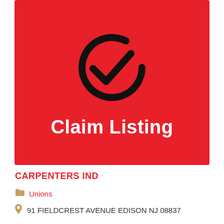[Figure (logo): Red background image with a large black circular checkmark logo and white bold text 'Claim Listing' centered below the logo.]
CARPENTERS IND
Unions
91 FIELDCREST AVENUE EDISON NJ 08837